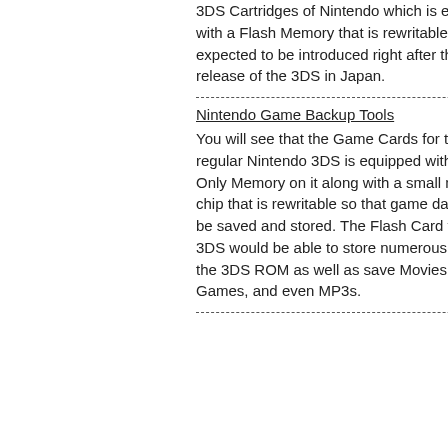3DS Cartridges of Nintendo which is equipped with a Flash Memory that is rewritable can be expected to be introduced right after the release of the 3DS in Japan.
The s bori symp you w plac seve
Nintendo Game Backup Tools
You will see that the Game Cards for the regular Nintendo 3DS is equipped with Read Only Memory on it along with a small memory chip that is rewritable so that game data can be saved and stored. The Flash Card for the 3DS would be able to store numerous files for the 3DS ROM as well as save Movies, Games, and even MP3s.
Most is ver Less chara endo